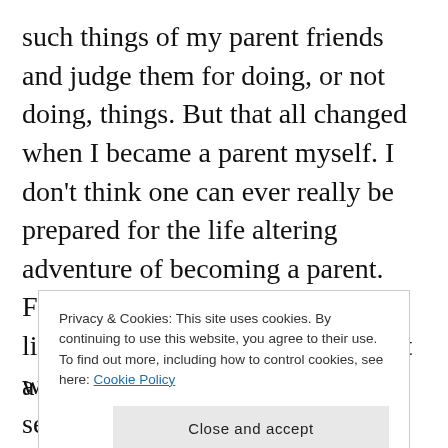such things of my parent friends and judge them for doing, or not doing, things. But that all changed when I became a parent myself. I don't think one can ever really be prepared for the life altering adventure of becoming a parent. From your social life to your sex life, your sleep and your sanity – it will never be the same again.

I never really comprehended what becoming a parent was all about. I was so focused on just
Privacy & Cookies: This site uses cookies. By continuing to use this website, you agree to their use.
To find out more, including how to control cookies, see here: Cookie Policy
a mom now, and the rewards of seeing these two